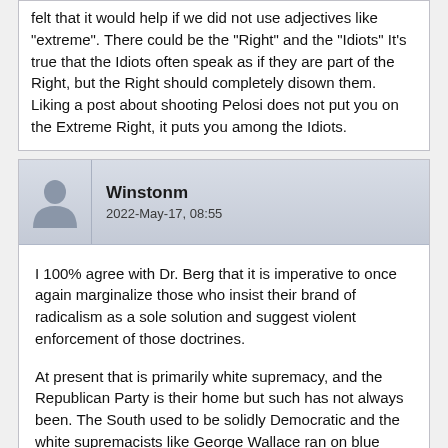felt that it would help if we did not use adjectives like "extreme". There could be the "Right" and the "Idiots" It's true that the Idiots often speak as if they are part of the Right, but the Right should completely disown them. Liking a post about shooting Pelosi does not put you on the Extreme Right, it puts you among the Idiots.
Winstonm
2022-May-17, 08:55
I 100% agree with Dr. Berg that it is imperative to once again marginalize those who insist their brand of radicalism as a sole solution and suggest violent enforcement of those doctrines.
At present that is primarily white supremacy, and the Republican Party is their home but such has not always been. The South used to be solidly Democratic and the white supremacists like George Wallace ran on blue tickets.
However, Republicans are losing now and are too desperate to alienate any voter, regardless of radicalism.
Until the Tucker Carlsons and Alex Joneses of the world are stuffed back into a box and relegated to the closet there is no end in sight. It